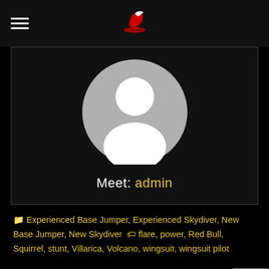Menu | Logo
[Figure (photo): Author avatar card with circular grey placeholder avatar image and text 'Meet: admin']
📁 Experienced Base Jumper, Experienced Skydiver, New Base Jumper, New Skydiver 🏷 flare, power, Red Bull, Squirrel, stunt, Villarica, Volcano, wingsuit, wingsuit pilot
← Previous
Tip Tuesday: Line Stows
Next →
Just Keep Fl…